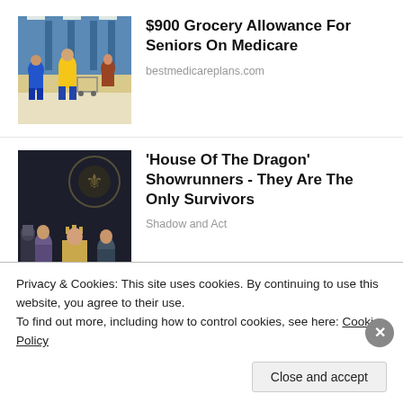[Figure (photo): People shopping in a grocery store aisle with shopping carts]
$900 Grocery Allowance For Seniors On Medicare
bestmedicareplans.com
[Figure (photo): Cast members from House of the Dragon TV show in costume]
'House Of The Dragon' Showrunners - They Are The Only Survivors
Shadow and Act
Privacy & Cookies: This site uses cookies. By continuing to use this website, you agree to their use.
To find out more, including how to control cookies, see here: Cookie Policy
Close and accept